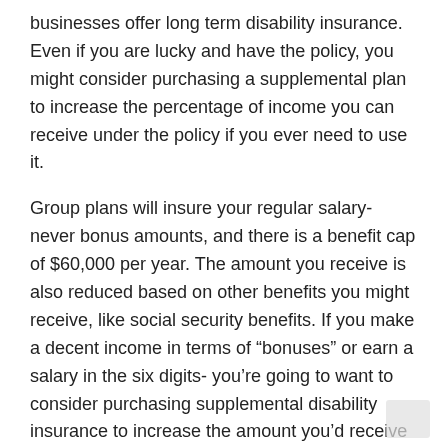businesses offer long term disability insurance. Even if you are lucky and have the policy, you might consider purchasing a supplemental plan to increase the percentage of income you can receive under the policy if you ever need to use it.
Group plans will insure your regular salary- never bonus amounts, and there is a benefit cap of $60,000 per year. The amount you receive is also reduced based on other benefits you might receive, like social security benefits. If you make a decent income in terms of “bonuses” or earn a salary in the six digits- you’re going to want to consider purchasing supplemental disability insurance to increase the amount you’d receive if you need to claim.
Individual Disability Insurance